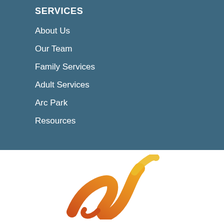SERVICES
About Us
Our Team
Family Services
Adult Services
Arc Park
Resources
[Figure (logo): Orange and yellow stylized arc/brushstroke logo mark on white background]